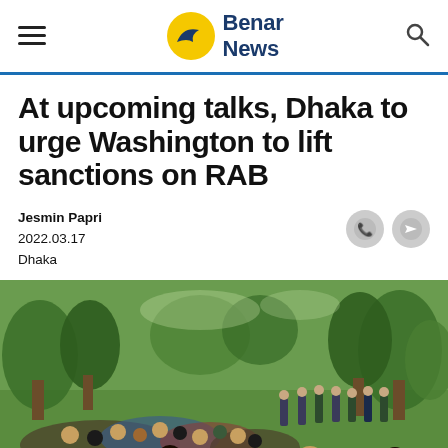Benar News
At upcoming talks, Dhaka to urge Washington to lift sanctions on RAB
Jesmin Papri
2022.03.17
Dhaka
[Figure (photo): Outdoor scene in a park with a crowd of people, some in uniforms, gathered under trees on green grass.]